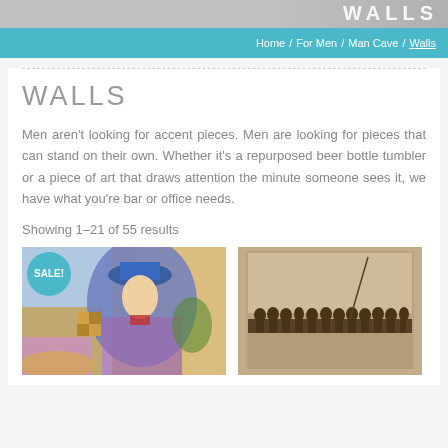Home / For Men / Man Cave / Walls
WALLS
Men aren't looking for accent pieces. Men are looking for pieces that can stand on their own. Whether it's a repurposed beer bottle tumbler or a piece of art that draws attention the minute someone sees it, we have what you're bar or office needs.
Showing 1–21 of 55 results
[Figure (photo): Colorful painting of a woman in a blue hat with art deco style, with a SALE badge overlay]
[Figure (photo): Sepia-toned photo of workers sitting on a steel beam high above a city skyline]